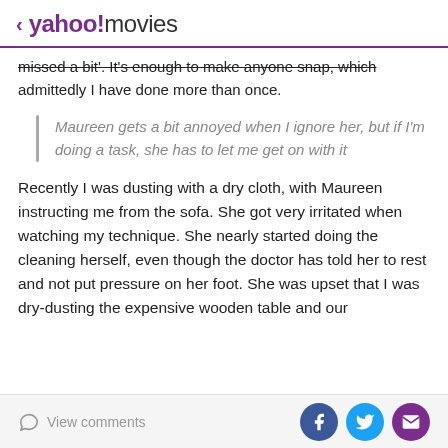< yahoo!movies
missed a bit'. It's enough to make anyone snap, which admittedly I have done more than once.
Maureen gets a bit annoyed when I ignore her, but if I'm doing a task, she has to let me get on with it
Recently I was dusting with a dry cloth, with Maureen instructing me from the sofa. She got very irritated when watching my technique. She nearly started doing the cleaning herself, even though the doctor has told her to rest and not put pressure on her foot. She was upset that I was dry-dusting the expensive wooden table and our
View comments